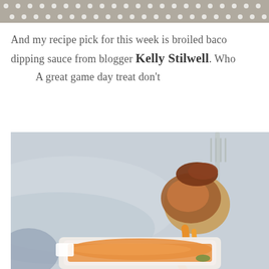[Figure (photo): Gray polka dot banner/header strip at the top of the page]
And my recipe pick for this week is broiled bacon dipping sauce from blogger Kelly Stilwell. Who... A great game day treat don't...
[Figure (photo): Food photo showing a bacon-wrapped item being dipped into an orange/yellow dipping sauce in a white dish]